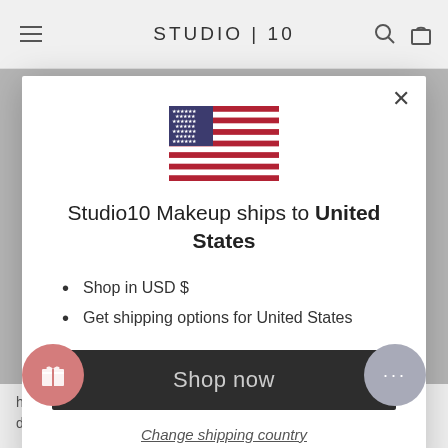STUDIO | 10
[Figure (illustration): US flag SVG illustration]
Studio10 Makeup ships to United States
Shop in USD $
Get shipping options for United States
Shop now
Change shipping country
hardly makes it a problem-free~ ~each does.